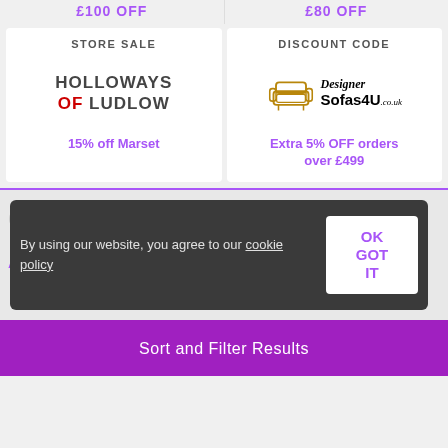£100 OFF
£80 OFF
STORE SALE
[Figure (logo): Holloways of Ludlow logo — bold uppercase text with 'OF' in red]
15% off Marset
DISCOUNT CODE
[Figure (logo): Designer Sofas 4U logo with armchair icon]
Extra 5% OFF orders over £499
By using our website, you agree to our cookie policy
OK GOT IT
Sort and Filter Results